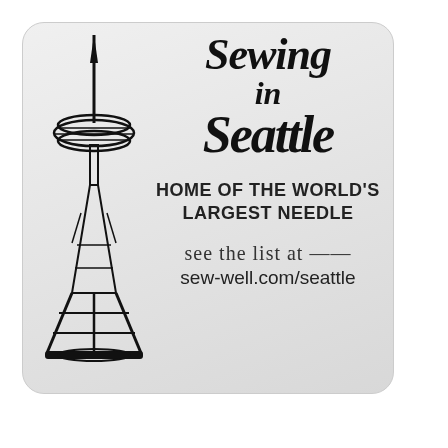[Figure (logo): Sewing in Seattle logo featuring an outline illustration of the Seattle Space Needle on the left, with bold italic text reading 'Sewing in Seattle', tagline 'HOME OF THE WORLD'S LARGEST NEEDLE', cursive text 'see the list at', and URL 'sew-well.com/seattle']